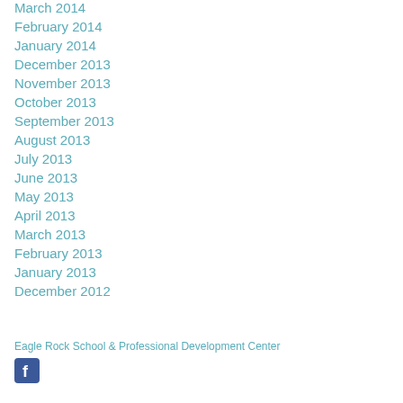March 2014
February 2014
January 2014
December 2013
November 2013
October 2013
September 2013
August 2013
July 2013
June 2013
May 2013
April 2013
March 2013
February 2013
January 2013
December 2012
Eagle Rock School & Professional Development Center